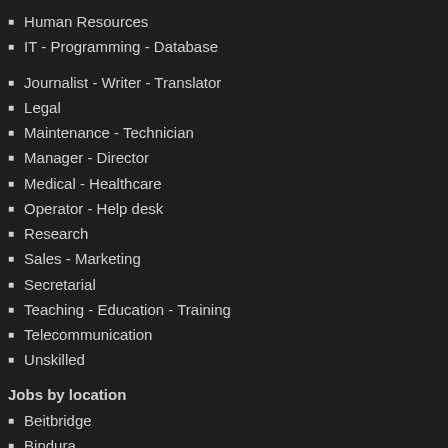Human Resources
IT - Programming - Database
Journalist - Writer - Translator
Legal
Maintenance - Technician
Manager - Director
Medical - Healthcare
Operator - Help desk
Research
Sales - Marketing
Secretarial
Teaching - Education - Training
Telecommunication
Unskilled
Jobs by location
Beitbridge
Bindura
Bulawayo
Chegutu
Chinhoyi
Chipinge
Chiredzi
Chitungwiza
Epworth
Gokwe
Gweru